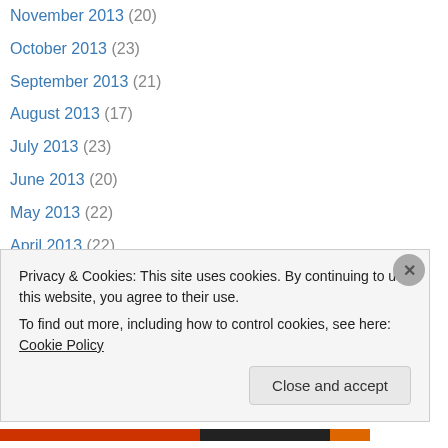November 2013 (20)
October 2013 (23)
September 2013 (21)
August 2013 (17)
July 2013 (23)
June 2013 (20)
May 2013 (22)
April 2013 (22)
March 2013 (20)
February 2013 (20)
January 2013 (23)
December 2012 (19)
November 2012 (22)
Privacy & Cookies: This site uses cookies. By continuing to use this website, you agree to their use. To find out more, including how to control cookies, see here: Cookie Policy
Close and accept